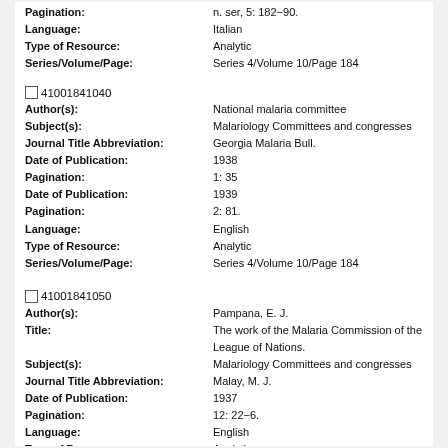Pagination: n. ser, 5: 182-90.
Language: Italian
Type of Resource: Analytic
Series/Volume/Page: Series 4/Volume 10/Page 184
41001841040
Author(s): National malaria committee
Subject(s): Malariology Committees and congresses
Journal Title Abbreviation: Georgia Malaria Bull.
Date of Publication: 1938
Pagination: 1: 35
Date of Publication: 1939
Pagination: 2: 81.
Language: English
Type of Resource: Analytic
Series/Volume/Page: Series 4/Volume 10/Page 184
41001841050
Author(s): Pampana, E. J.
Title: The work of the Malaria Commission of the League of Nations.
Subject(s): Malariology Committees and congresses
Journal Title Abbreviation: Malay, M. J.
Date of Publication: 1937
Pagination: 12: 22-6.
Language: English
Type of Resource: Analytic
Series/Volume/Page: Series 4/Volume 10/Page 184
41001841060